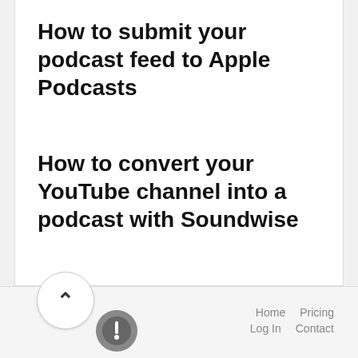How to submit your podcast feed to Apple Podcasts
How to convert your YouTube channel into a podcast with Soundwise
[Figure (other): Scroll-to-top circular button with upward caret arrow]
[Figure (logo): Soundwise circular logo icon in grey]
Home   Pricing   Log In   Contact